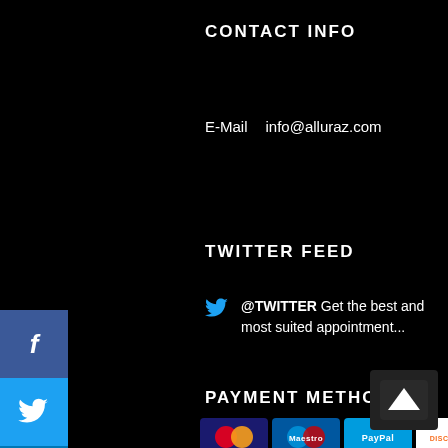CONTACT INFO
E-Mail    info@alluraz.com
TWITTER FEED
@TWITTER Get the best and most suited appointment...
PAYMENT METHODS
[Figure (infographic): Row of payment method logos: MasterCard, Maestro, PayPal, Discover, Skrill]
[Figure (infographic): Social media sidebar buttons: Facebook, Twitter, LinkedIn, YouTube, Instagram, Pinterest]
[Figure (infographic): Back to top arrow button, dark grey rounded square]